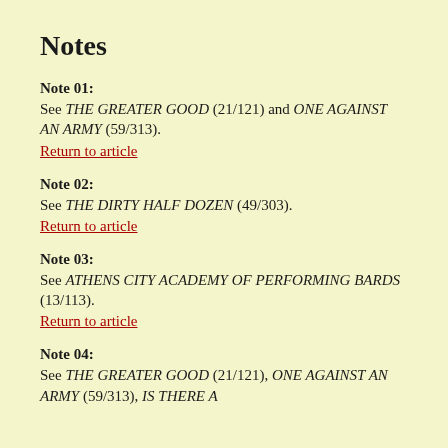Notes
Note 01:
See THE GREATER GOOD (21/121) and ONE AGAINST AN ARMY (59/313).
Return to article
Note 02:
See THE DIRTY HALF DOZEN (49/303).
Return to article
Note 03:
See ATHENS CITY ACADEMY OF PERFORMING BARDS (13/113).
Return to article
Note 04:
See THE GREATER GOOD (21/121), ONE AGAINST AN ARMY (59/313), IS THERE A